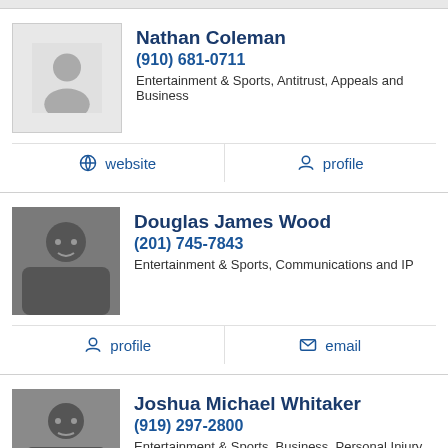Nathan Coleman
(910) 681-0711
Entertainment & Sports, Antitrust, Appeals and Business
website
profile
Douglas James Wood
(201) 745-7843
Entertainment & Sports, Communications and IP
profile
email
Joshua Michael Whitaker
(919) 297-2800
Entertainment & Sports, Business, Personal Injury and Pro